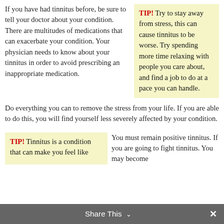If you have had tinnitus before, be sure to tell your doctor about your condition. There are multitudes of medications that can exacerbate your condition. Your physician needs to know about your tinnitus in order to avoid prescribing an inappropriate medication.
TIP! Try to stay away from stress, this can cause tinnitus to be worse. Try spending more time relaxing with people you care about, and find a job to do at a pace you can handle.
Do everything you can to remove the stress from your life. If you are able to do this, you will find yourself less severely affected by your condition.
TIP! Tinnitus is a condition that can make you feel like
You must remain positive tinnitus. If you are going to fight tinnitus. You may become
Share This